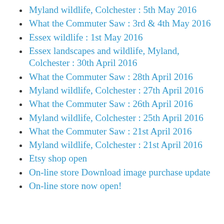Myland wildlife, Colchester : 5th May 2016
What the Commuter Saw : 3rd & 4th May 2016
Essex wildlife : 1st May 2016
Essex landscapes and wildlife, Myland, Colchester : 30th April 2016
What the Commuter Saw : 28th April 2016
Myland wildlife, Colchester : 27th April 2016
What the Commuter Saw : 26th April 2016
Myland wildlife, Colchester : 25th April 2016
What the Commuter Saw : 21st April 2016
Myland wildlife, Colchester : 21st April 2016
Etsy shop open
On-line store Download image purchase update
On-line store now open!